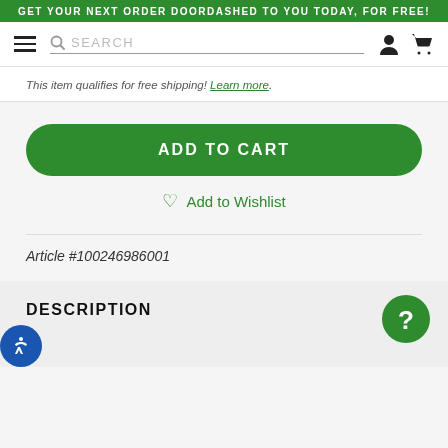GET YOUR NEXT ORDER DOORDASHED TO YOU TODAY, FOR FREE!
[Figure (screenshot): Navigation bar with hamburger menu, search field, user account icon, and shopping cart icon]
This item qualifies for free shipping! Learn more.
ADD TO CART
Add to Wishlist
Article #100246986001
DESCRIPTION